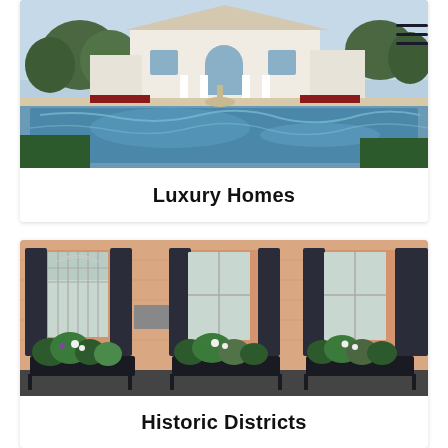[Figure (photo): Luxury home with swimming pool in foreground, large white mansion with arched windows and manicured gardens in background]
Luxury Homes
[Figure (photo): Historic district building facade with peach/salmon colored exterior, dark shutters, ornate iron window guards, and window boxes with flowers and greenery]
Historic Districts